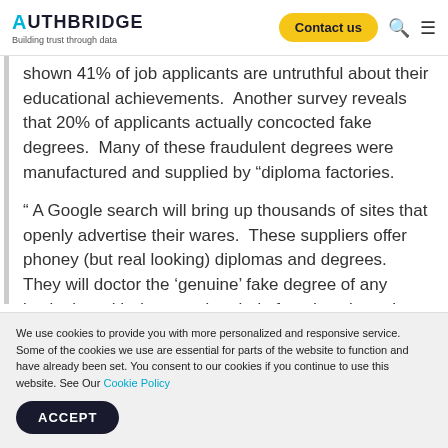AUTHBRIDGE Building trust through data | Contact us
shown 41% of job applicants are untruthful about their educational achievements.  Another survey reveals that 20% of applicants actually concocted fake degrees.  Many of these fraudulent degrees were manufactured and supplied by “diploma factories.
“ A Google search will bring up thousands of sites that openly advertise their wares.  These suppliers offer phoney (but real looking) diplomas and degrees.  They will doctor the ‘genuine’ fake degree of any institution with dates and period of study to buyer’s requirements.  They will also provide everything including grades
We use cookies to provide you with more personalized and responsive service. Some of the cookies we use are essential for parts of the website to function and have already been set. You consent to our cookies if you continue to use this website. See Our Cookie Policy
ACCEPT